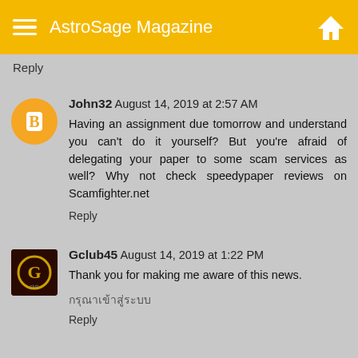AstroSage Magazine
Reply
John32  August 14, 2019 at 2:57 AM
Having an assignment due tomorrow and understand you can't do it yourself? But you're afraid of delegating your paper to some scam services as well? Why not check speedypaper reviews on Scamfighter.net
Reply
Gclub45  August 14, 2019 at 1:22 PM
Thank you for making me aware of this news.
กรุณาเข้าสู่ระบบ
Reply